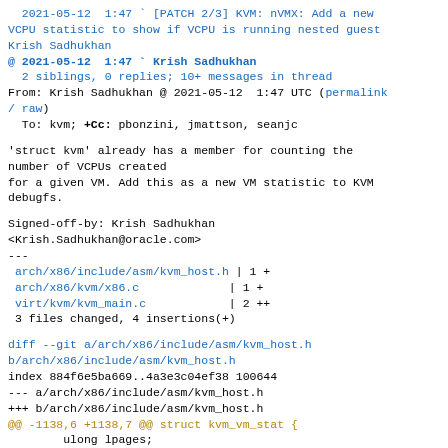2021-05-12  1:47 ` [PATCH 2/3] KVM: nVMX: Add a new VCPU statistic to show if VCPU is running nested guest
Krish Sadhukhan
@ 2021-05-12  1:47 ` Krish Sadhukhan
  2 siblings, 0 replies; 10+ messages in thread
From: Krish Sadhukhan @ 2021-05-12  1:47 UTC (permalink / raw)
  To: kvm; +Cc: pbonzini, jmattson, seanjc
'struct kvm' already has a member for counting the number of VCPUs created
for a given VM. Add this as a new VM statistic to KVM debugfs.
Signed-off-by: Krish Sadhukhan
<Krish.Sadhukhan@oracle.com>
---
 arch/x86/include/asm/kvm_host.h | 1 +
 arch/x86/kvm/x86.c              | 1 +
 virt/kvm/kvm_main.c             | 2 ++
 3 files changed, 4 insertions(+)
diff --git a/arch/x86/include/asm/kvm_host.h b/arch/x86/include/asm/kvm_host.h
index 884f6e5ba669..4a3e3c04ef38 100644
--- a/arch/x86/include/asm/kvm_host.h
+++ b/arch/x86/include/asm/kvm_host.h
@@ -1138,6 +1138,7 @@ struct kvm_vm_stat {
        ulong lpages;
        ulong nx_lpage_splits;